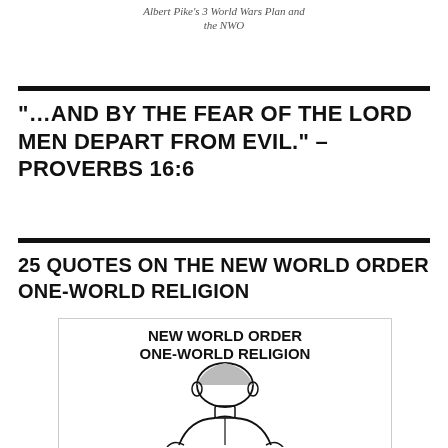Albert Pike's 3 World Wars Plan and the NWO
“…AND BY THE FEAR OF THE LORD MEN DEPART FROM EVIL.” –PROVERBS 16:6
25 QUOTES ON THE NEW WORLD ORDER ONE-WORLD RELIGION
[Figure (illustration): Illustration with bold heading text 'NEW WORLD ORDER ONE-WORLD RELIGION' and a line-drawing of a figure (appears to be a religious/political figure) below it.]